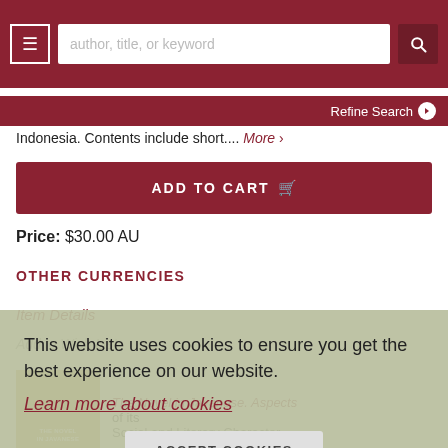author, title, or keyword [search bar] Refine Search
Indonesia. Contents include short.... More
ADD TO CART
Price: $30.00 AU
OTHER CURRENCIES
Item Details
Add to Wish List
This website uses cookies to ensure you get the best experience on our website.
Learn more about cookies
ACCEPT COOKIES
The Novel in Javanese. Aspects of its Social and Literary Character.